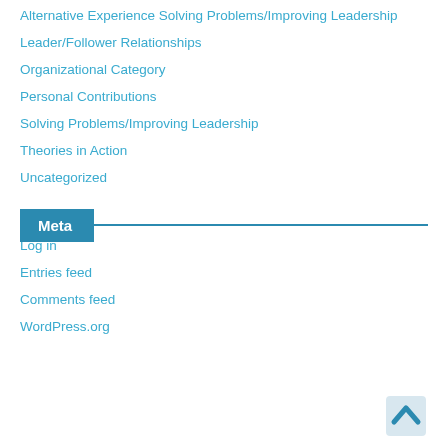Alternative Experience Solving Problems/Improving Leadership
Leader/Follower Relationships
Organizational Category
Personal Contributions
Solving Problems/Improving Leadership
Theories in Action
Uncategorized
Meta
Log in
Entries feed
Comments feed
WordPress.org